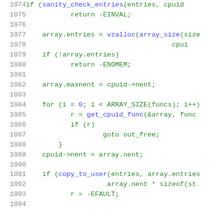[Figure (screenshot): Source code listing in a monospace editor/viewer showing C code lines 1074-1094, with line numbers in gray on the left and code in green/blue on the right. The code shows a function body with sanity checks, memory allocation with vzalloc, loop over ARRAY_SIZE(funcs), cpuid->nent assignment, and a copy_to_user call.]